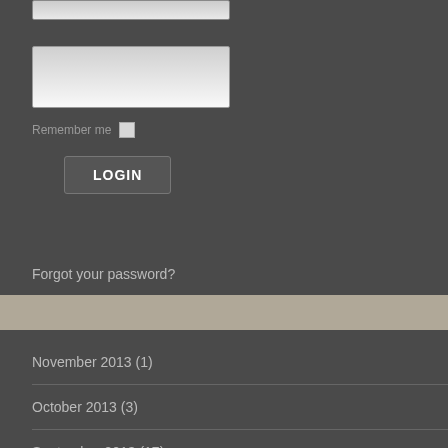[Figure (screenshot): Password input field (partially visible at top)]
[Figure (screenshot): Second input field (username or password)]
Remember me
LOGIN
Forgot your password?
Forgot your username?
November 2013 (1)
October 2013 (3)
September 2013 (17)